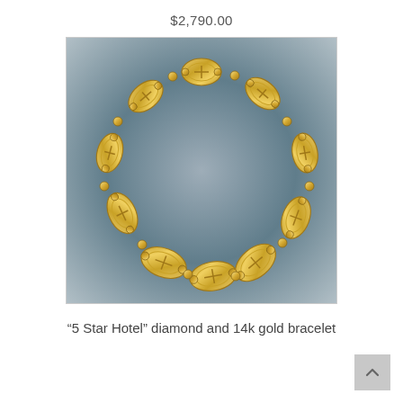$2,790.00
[Figure (photo): A gold bracelet with multiple oval filigree links set with diamonds, arranged in a circular shape on a dark gradient background. The bracelet is described as a '5 Star Hotel' diamond and 14k gold bracelet.]
“5 Star Hotel” diamond and 14k gold bracelet